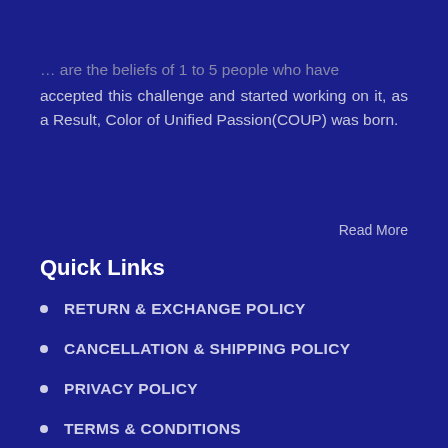… are the beliefs of 1 to 5 people who have accepted this challenge and started working on it, as a Result, Color of Unified Passion(COUP) was born.
Read More
Quick Links
RETURN & EXCHANGE POLICY
CANCELLATION & SHIPPING POLICY
PRIVACY POLICY
TERMS & CONDITIONS